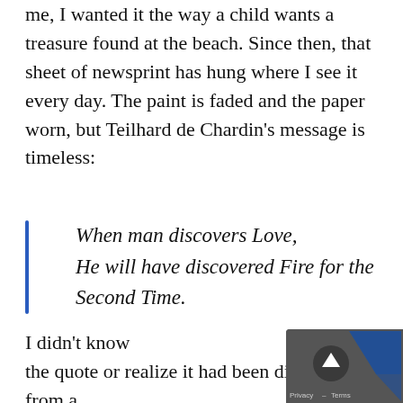me, I wanted it the way a child wants a treasure found at the beach. Since then, that sheet of newsprint has hung where I see it every day. The paint is faded and the paper worn, but Teilhard de Chardin's message is timeless:
When man discovers Love,
He will have discovered Fire for the Second Time.
I didn't know the quote or realize it had been distilled from a longer one, but the